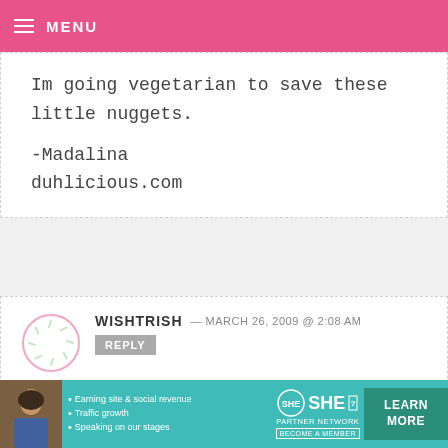MENU
Im going vegetarian to save these little nuggets.

-Madalina
duhlicious.com
WISHTRISH — MARCH 26, 2009 @ 2:08 AM
REPLY

Never seen cuter. Love them! And yellows and oranges are my favorite colors, so these top my list of cutest
[Figure (other): Advertisement banner for SHE Partner Network with a woman's photo, bullet points about earning site & social revenue, traffic growth, speaking on our stages, SHE logo, and LEARN MORE button]